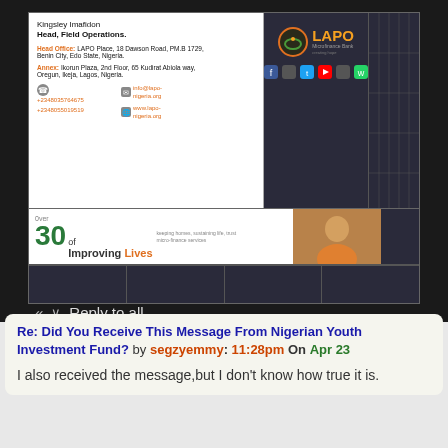[Figure (screenshot): Screenshot of an email signature from Kingsley Imafidon, Head, Field Operations at LAPO Microfinance Bank Nigeria. Shows head office and annex addresses, phone numbers, email and website links, LAPO logo with social media icons, and a '30 years of Improving Lives' banner. Below is a Reply to all button and Android navigation bar.]
Re: Did You Receive This Message From Nigerian Youth Investment Fund? by segzyemmy: 11:28pm On Apr 23
I also received the message,but I don't know how true it is.